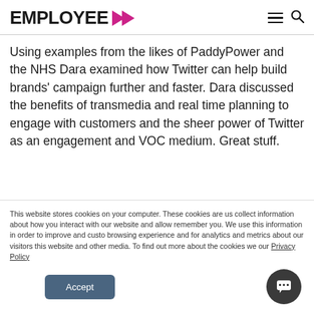EMPLOYEE >
Using examples from the likes of PaddyPower and the NHS Dara examined how Twitter can help build brands' campaign further and faster. Dara discussed the benefits of transmedia and real time planning to engage with customers and the sheer power of Twitter as an engagement and VOC medium. Great stuff.
This website stores cookies on your computer. These cookies are us collect information about how you interact with our website and allow remember you. We use this information in order to improve and custo browsing experience and for analytics and metrics about our visitors this website and other media. To find out more about the cookies we our Privacy Policy